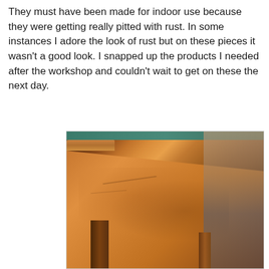They must have been made for indoor use because they were getting really pitted with rust. In some instances I adore the look of rust but on these pieces it wasn't a good look. I snapped up the products I needed after the workshop and couldn't wait to get on these the next day.
[Figure (photo): Close-up photograph of a rusty metal furniture piece (likely an outdoor chair or table) showing a corner/cap detail with heavy rust patina in warm orange-brown tones. The background shows a blurred second piece with teal/blue coloring.]